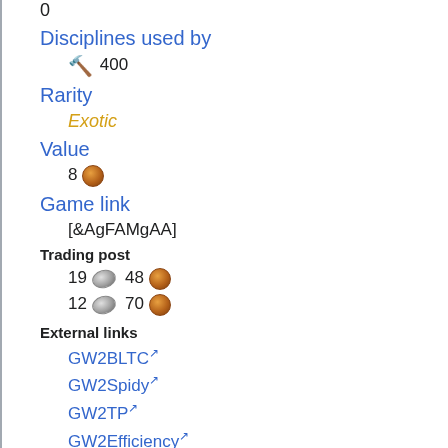0
Disciplines used by
🔨 400
Rarity
Exotic
Value
8 [copper coin]
Game link
[&AgFAMgAA]
Trading post
19 [silver] 48 [copper]
12 [silver] 70 [copper]
External links
GW2BLTC ↗
GW2Spidy ↗
GW2TP ↗
GW2Efficiency ↗